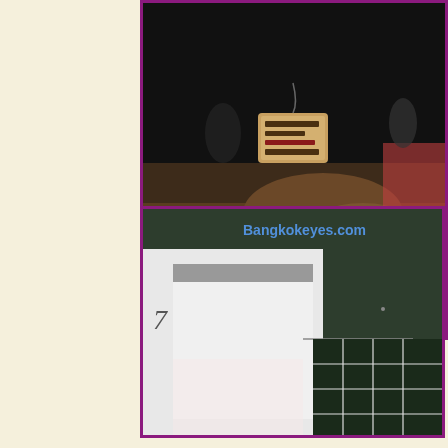[Figure (photo): Construction site at night with dirt/rubble and a sign visible. Watermark 'Bangkokeyes.com' in bottom left of photo.]
Last month we noted the opening due to rain.  This month we provide a Fo... get back atcha once we know which its goi...
[Figure (photo): Interior construction photo showing white walls/panels and a dark tiled grid section. Watermark 'Bangkokeyes.com' at top.]